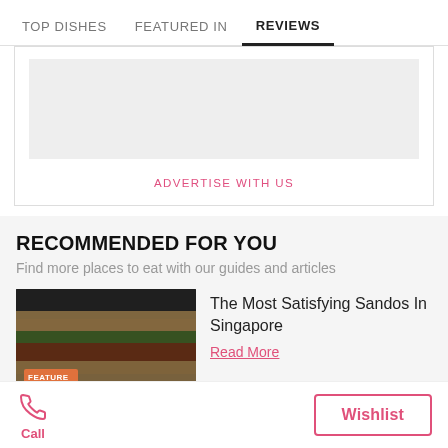TOP DISHES   FEATURED IN   REVIEWS
[Figure (other): Advertisement placeholder gray box with 'ADVERTISE WITH US' link below]
RECOMMENDED FOR YOU
Find more places to eat with our guides and articles
[Figure (photo): Photo of sandwiches/sandos with orange feature badge and title overlay 'The Most Satisfying Sandos']
The Most Satisfying Sandos In Singapore
Read More
Call   Wishlist